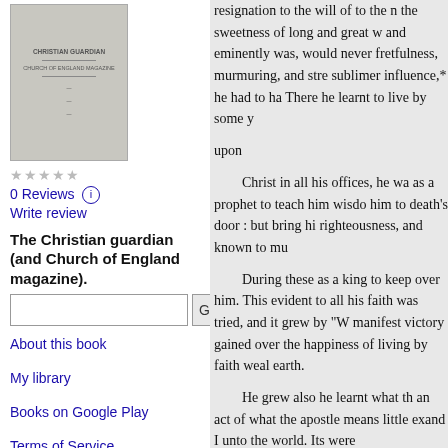[Figure (illustration): Book cover thumbnail for The Christian guardian (and Church of England magazine)]
0 Reviews  ℹ
Write review
The Christian guardian (and Church of England magazine).
About this book
My library
Books on Google Play
Terms of Service
resignation to the will of to the n the sweetness of long and great w and eminently was, would never fretfulness, murmuring, and stre sublimer influence,* he had to ha There he learnt to live by some y

upon

    Christ in all his offices, he wa as a prophet to teach him wisdo him to death's door : but bring hi righteousness, and known to mu

    During these as a king to keep over him. This evident to all his faith was tried, and it grew by "W manifest victory gained over the happiness of living by faith weal earth.

    He grew also he learnt what th an act of what the apostle means little exand I unto the world. Its were